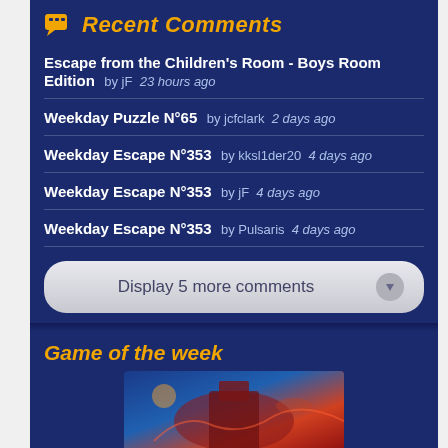Recent Comments
Escape from the Children's Room - Boys Room Edition  by jF  23 hours ago
Weekday Puzzle N°65  by jcfclark  2 days ago
Weekday Escape N°353  by kksl1der20  4 days ago
Weekday Escape N°353  by jF  4 days ago
Weekday Escape N°353  by Pulsaris  4 days ago
Display 5 more comments
Game of the week
[Figure (photo): Game of the week promotional image showing a fantasy/adventure game artwork with warm colors, castle and dramatic lighting]